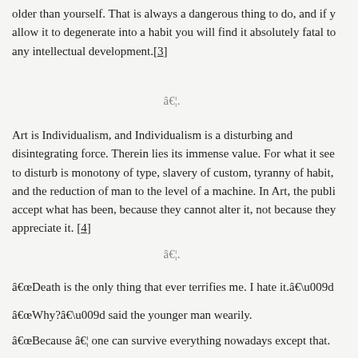older than yourself. That is always a dangerous thing to do, and if you allow it to degenerate into a habit you will find it absolutely fatal to any intellectual development.[3]
â€¦
Art is Individualism, and Individualism is a disturbing and disintegrating force. Therein lies its immense value. For what it seeks to disturb is monotony of type, slavery of custom, tyranny of habit, and the reduction of man to the level of a machine. In Art, the public accept what has been, because they cannot alter it, not because they appreciate it. [4]
â€¦
â€œDeath is the only thing that ever terrifies me. I hate it.â€
â€œWhy?â€ said the younger man wearily.
â€œBecause â€¦ one can survive everything nowadays except that. Death and vulgarity are the only two facts in the nineteenth century that one cannot explain away. Let us have our coffee in the music-room, Dorian. You must play Chopin to me. The man with whom my wife ran away played Chopin exquisitely. Poor Victoria! I was very fond of her. The house is rather lonely without her. Of course, marri-